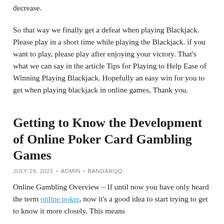decrease.
So that way we finally get a defeat when playing Blackjack. Please play in a short time while playing the Blackjack. if you want to play, please play after enjoying your victory. That's what we can say in the article Tips for Playing to Help Ease of Winning Playing Blackjack. Hopefully an easy win for you to get when playing blackjack in online games, Thank you.
Getting to Know the Development of Online Poker Card Gambling Games
JULY 29, 2021 • ADMIN • BANDARQQ
Online Gambling Overview – If until now you have only heard the term online poker, now it's a good idea to start trying to get to know it more closely. This means